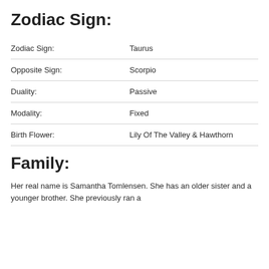Zodiac Sign:
| Zodiac Sign: | Taurus |
| Opposite Sign: | Scorpio |
| Duality: | Passive |
| Modality: | Fixed |
| Birth Flower: | Lily Of The Valley & Hawthorn |
Family:
Her real name is Samantha Tomlensen. She has an older sister and a younger brother. She previously ran a